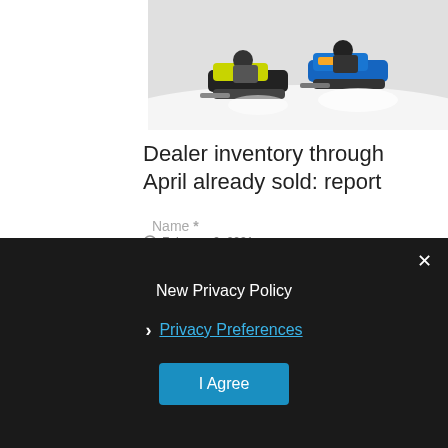[Figure (photo): Two snowmobiles racing on snow, one yellow and black, one blue and yellow]
Dealer inventory through April already sold: report
February 9, 2021
LEAVE A REPLY
Your email address will not be published. Required fields are marked *
New Privacy Policy
Privacy Preferences
I Agree
Name *